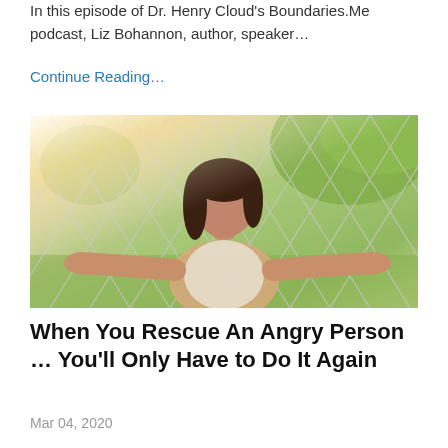In this episode of Dr. Henry Cloud's Boundaries.Me podcast, Liz Bohannon, author, speaker…
Continue Reading…
[Figure (photo): A woman with dark hair reaching her hands through a chain-link fence, looking distressed, outdoors with green foliage in background and warm sunlight flare]
When You Rescue An Angry Person … You'll Only Have to Do It Again
Mar 04, 2020